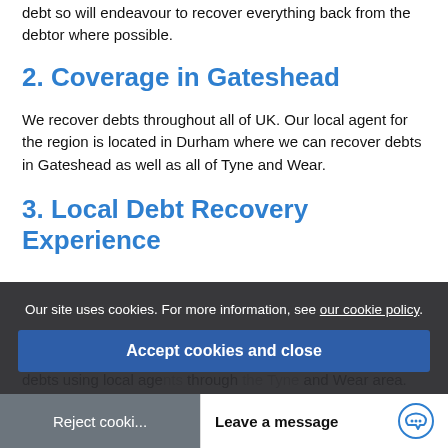debt so will endeavour to recover everything back from the debtor where possible.
2. Coverage in Gateshead
We recover debts throughout all of UK. Our local agent for the region is located in Durham where we can recover debts in Gateshead as well as all of Tyne and Wear.
3. Local Debt Recovery Experience
Our UK head office is in Birmingham where we recover debts using local agents through the Tyne and Wear area. We have been operating in UK since 1968 so you are in safe hands
Our site uses cookies. For more information, see our cookie policy.
Accept cookies and close
Reject cooki
Leave a message